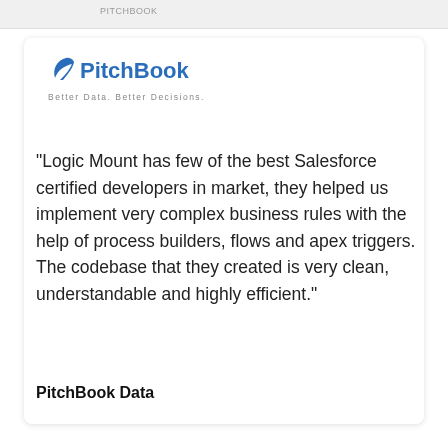[Figure (logo): PitchBook logo with tagline 'Better Data. Better Decisions.']
"Logic Mount has few of the best Salesforce certified developers in market, they helped us implement very complex business rules with the help of process builders, flows and apex triggers. The codebase that they created is very clean, understandable and highly efficient."
PitchBook Data